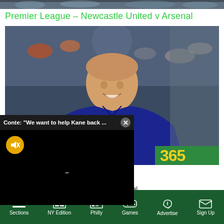[Figure (photo): Top strip showing crowd/stadium image]
Premier League – Newcastle United v Arsenal
[Figure (photo): Photo of a smiling man in a dark blue Castore jacket with Newcastle United branding, with a blurred crowd in the background and a green advertising board showing '365' in yellow]
[Figure (screenshot): Video popup overlay with header 'Conte: "We want to help Kane back ...' and a close (X) button, showing a black video screen with a muted (orange speaker-off) button and a loading indicator]
Premier League – Newcastle United v Arsenal
Sections  NY Edition  Philly  Games  Advertise  Sign Up